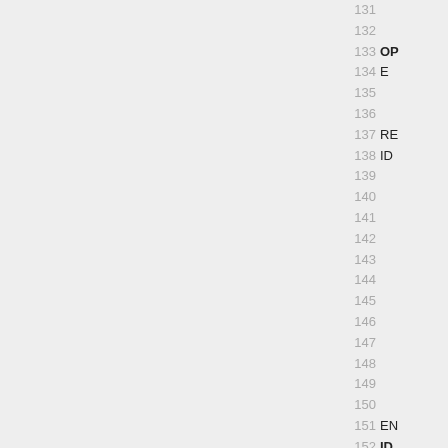Line numbers 131–153 with code tokens: 133 OP, 134 E, 137 RE, 138 ID, 151 EN, 152 ID, 153 RE